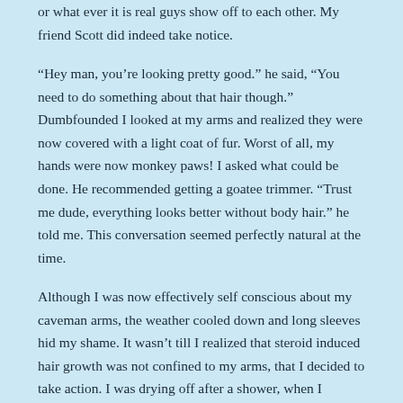or what ever it is real guys show off to each other. My friend Scott did indeed take notice.
“Hey man, you’re looking pretty good.” he said, “You need to do something about that hair though.” Dumbfounded I looked at my arms and realized they were now covered with a light coat of fur. Worst of all, my hands were now monkey paws! I asked what could be done. He recommended getting a goatee trimmer. “Trust me dude, everything looks better without body hair.” he told me. This conversation seemed perfectly natural at the time.
Although I was now effectively self conscious about my caveman arms, the weather cooled down and long sleeves hid my shame. It wasn’t till I realized that steroid induced hair growth was not confined to my arms, that I decided to take action. I was drying off after a shower, when I noticed my little forest below had mutated into a sprawling jungle reaching all the way up to my belly button. Dismayed, I showed my girlfriend. “Oh, you have a happy trail!” she said. A happy trail?? Why would anyone be happy about having Bigfoot belly? This was the last